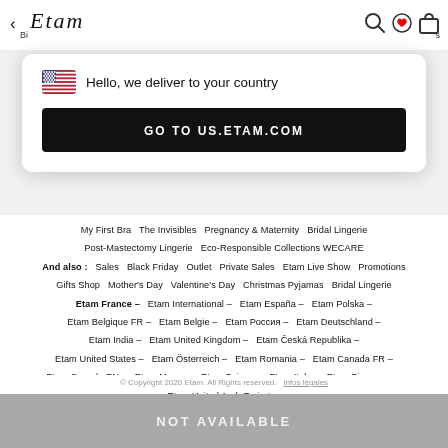Etam
[Figure (screenshot): Popup modal with US flag icon, text 'Hello, we deliver to your country', and a black button 'GO TO US.ETAM.COM']
My First Bra   The Invisibles   Pregnancy & Maternity   Bridal Lingerie   Post-Mastectomy Lingerie   Eco-Responsible Collections WECARE   And also :  Sales  Black Friday  Outlet  Private Sales  Etam Live Show  Promotions  Gifts Shop  Mother's Day  Valentine's Day  Christmas Pyjamas  Bridal Lingerie   Etam France –  Etam International –  Etam España –  Etam Polska –  Etam Belgique FR –  Etam Belgie –  Etam Россия –  Etam Deutschland –  Etam India –  Etam United Kingdom –  Etam Česká Republika –  Etam United States –  Etam Österreich –  Etam Romania –  Etam Canada FR –  Etam Canada EN –  Etam Maroc –  Etam Suisse –  Etam Italy –  Etam Singapore –  Etam United Arab Emirates
© Copyright 2020 Etam. All Rights reserved.  Infos légales
NOT AVAILABLE